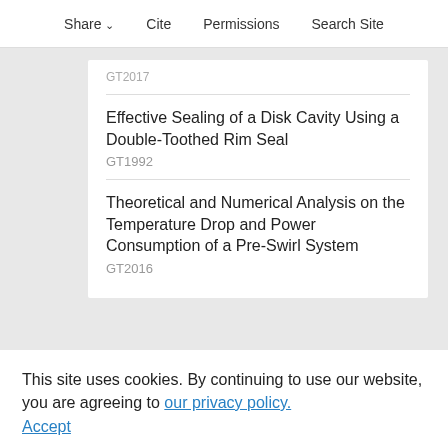Share  Cite  Permissions  Search Site
GT2017
Effective Sealing of a Disk Cavity Using a Double-Toothed Rim Seal
GT1992
Theoretical and Numerical Analysis on the Temperature Drop and Power Consumption of a Pre-Swirl System
GT2016
This site uses cookies. By continuing to use our website, you are agreeing to our privacy policy. Accept